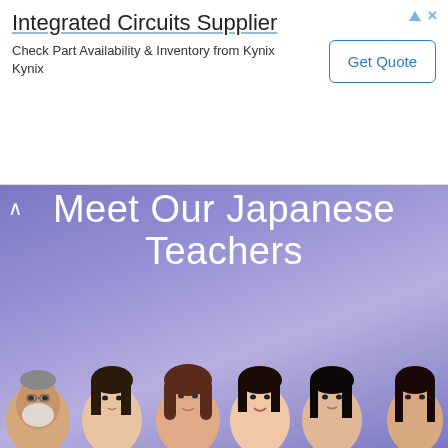[Figure (infographic): Advertisement banner for Integrated Circuits Supplier - Kynix. Shows title 'Integrated Circuits Supplier', body text 'Check Part Availability & Inventory from Kynix Kynix', and a 'Get Quote' button.]
Meet Our Japanese Teachers
[Figure (photo): Grid of headshot photos of Japanese language teachers arranged in three rows. Row 1: 6 teachers (older man with white beard, young woman, middle-aged woman, young woman smiling, young woman with dark hair, woman with bob cut). Row 2: 5 teachers (older man with glasses, woman with reddish-brown hair, woman with dark hair, middle-aged man with glasses, woman smiling). Row 3 (partial): 5 teachers partially visible at bottom.]